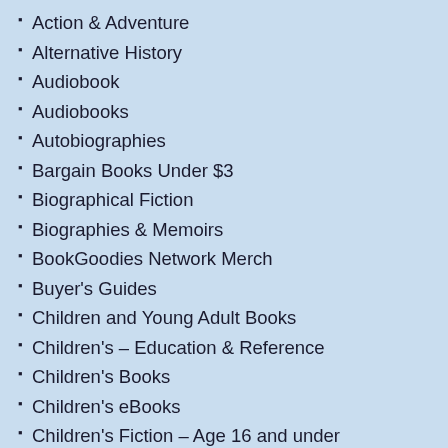Action & Adventure
Alternative History
Audiobook
Audiobooks
Autobiographies
Bargain Books Under $3
Biographical Fiction
Biographies & Memoirs
BookGoodies Network Merch
Buyer's Guides
Children and Young Adult Books
Children's – Education & Reference
Children's Books
Children's eBooks
Children's Fiction – Age 16 and under
Christian
Christian Fiction
Christian Romance
Comedy
Cowboy Romance
Cozy Mystery